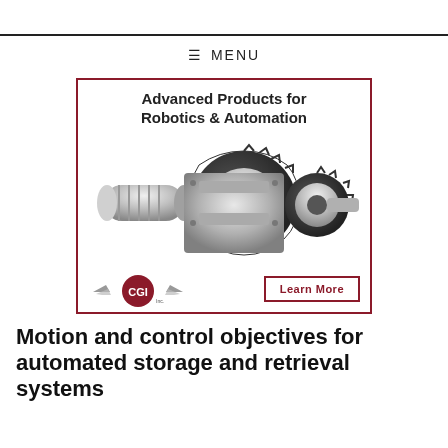≡ MENU
[Figure (illustration): CGI Inc. advertisement banner with title 'Advanced Products for Robotics & Automation', image of a mechanical gear/drive assembly, CGI Inc. logo with gear wings, and a 'Learn More' button. Border in dark red/maroon.]
Motion and control objectives for automated storage and retrieval systems